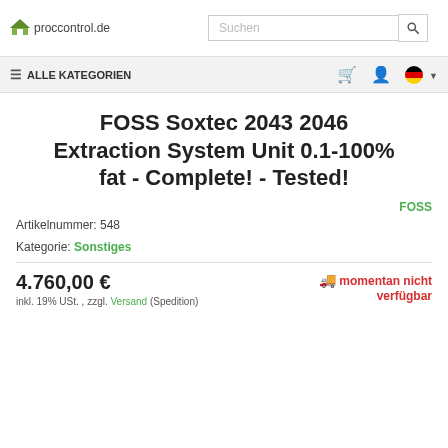proccontrol.de | Suchen
≡ ALLE KATEGORIEN
FOSS Soxtec 2043 2046 Extraction System Unit 0.1-100% fat - Complete! - Tested!
FOSS
Artikelnummer: 548
Kategorie: Sonstiges
4.760,00 €
inkl. 19% USt. , zzgl. Versand (Spedition)
momentan nicht verfügbar